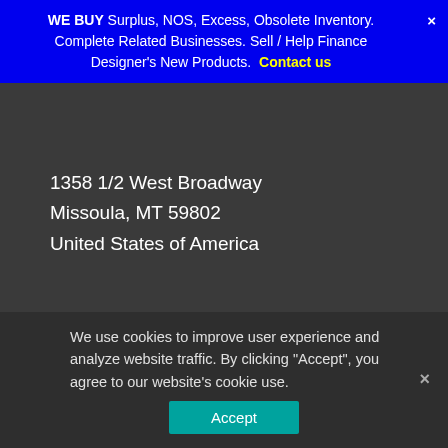WE BUY Surplus, NOS, Excess, Obsolete Inventory. Complete Related Businesses. Sell / Help Finance Designer's New Products. Contact us
1358 1/2 West Broadway
Missoula, MT 59802
United States of America
© Arcade Parts and Repair 2022
Arcade Parts and Repair, Inc. Privacy Policy | Built with Storefront & WooCommerce.
We use cookies to improve user experience and analyze website traffic. By clicking "Accept", you agree to our website's cookie use. Accept